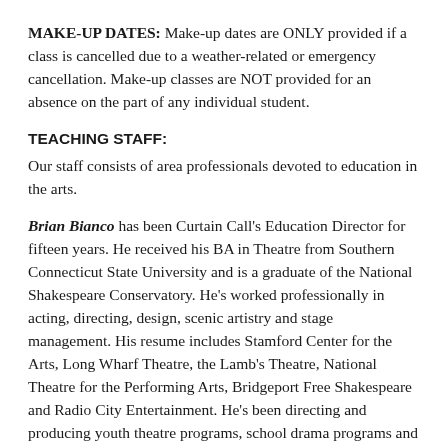MAKE-UP DATES: Make-up dates are ONLY provided if a class is cancelled due to a weather-related or emergency cancellation. Make-up classes are NOT provided for an absence on the part of any individual student.
TEACHING STAFF:
Our staff consists of area professionals devoted to education in the arts.
Brian Bianco has been Curtain Call's Education Director for fifteen years. He received his BA in Theatre from Southern Connecticut State University and is a graduate of the National Shakespeare Conservatory. He's worked professionally in acting, directing, design, scenic artistry and stage management. His resume includes Stamford Center for the Arts, Long Wharf Theatre, the Lamb's Theatre, National Theatre for the Performing Arts, Bridgeport Free Shakespeare and Radio City Entertainment. He's been directing and producing youth theatre programs, school drama programs and theatre for...